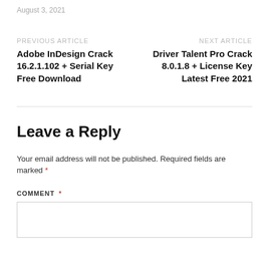August 3, 2021
PREVIOUS ARTICLE
Adobe InDesign Crack 16.2.1.102 + Serial Key Free Download
NEXT ARTICLE
Driver Talent Pro Crack 8.0.1.8 + License Key Latest Free 2021
Leave a Reply
Your email address will not be published. Required fields are marked *
COMMENT *